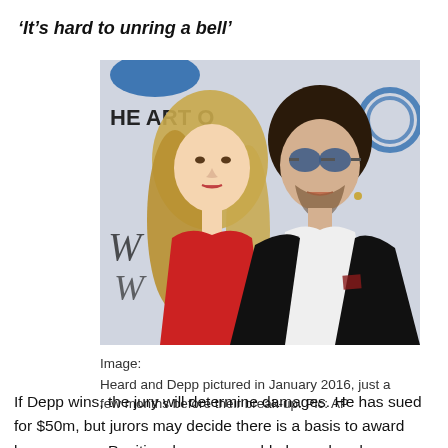‘It’s hard to unring a bell’
[Figure (photo): Amber Heard and Johnny Depp photographed together at an event in January 2016, posing in front of event signage including 'The Art of...' text. Heard is wearing a red dress with long blonde wavy hair; Depp is wearing a black suit with sunglasses.]
Image:
Heard and Depp pictured in January 2016, just a few months before their break-up. Pic: AP
If Depp wins, the jury will determine damages. He has sued for $50m, but jurors may decide there is a basis to award less or more. Punitive damages could also ordered to be considered from a separate...